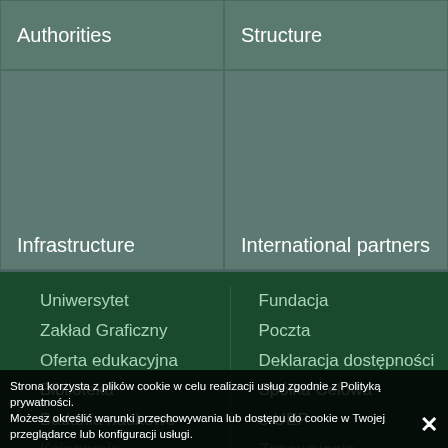| Authorities | Structure | Infrastructure | International partners |
| --- | --- | --- | --- |
Uniwersytet
Zakład Graficzny
Oferta edukacyjna
Biblioteka
Badania naukowe
Fundacja
Poczta
Deklaracja dostępności
Spółka Celowa
e-UEP
Strona korzysta z plików cookie w celu realizacji usług zgodnie z Polityką prywatności.
Możesz określić warunki przechowywania lub dostępu do cookie w Twojej przeglądarce lub konfiguracji usługi.